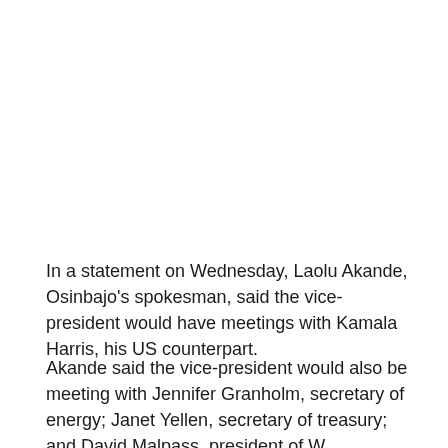In a statement on Wednesday, Laolu Akande, Osinbajo's spokesman, said the vice-president would have meetings with Kamala Harris, his US counterpart.
Akande said the vice-president would also be meeting with Jennifer Granholm, secretary of energy; Janet Yellen, secretary of treasury; and David Malpass, president of World Bank Group...